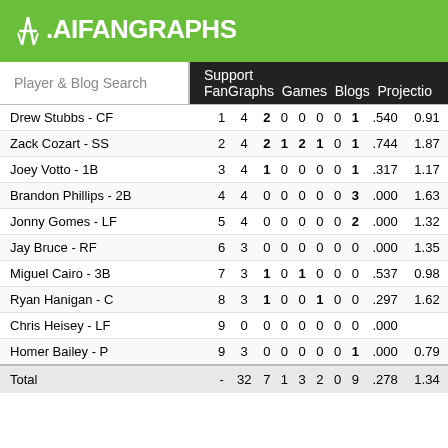FanGraphs
Player & Blog Search  Support FanGraphs Games Blogs Projectio
| Player | # | AB | H | 2B | 3B | HR | RBI | K | AVG | WPA |
| --- | --- | --- | --- | --- | --- | --- | --- | --- | --- | --- |
| Drew Stubbs - CF | 1 | 4 | 2 | 0 | 0 | 0 | 0 | 1 | .540 | 0.91 |
| Zack Cozart - SS | 2 | 4 | 2 | 1 | 2 | 1 | 0 | 1 | .744 | 1.87 |
| Joey Votto - 1B | 3 | 4 | 1 | 0 | 0 | 0 | 0 | 1 | .317 | 1.17 |
| Brandon Phillips - 2B | 4 | 4 | 0 | 0 | 0 | 0 | 0 | 3 | .000 | 1.63 |
| Jonny Gomes - LF | 5 | 4 | 0 | 0 | 0 | 0 | 0 | 2 | .000 | 1.32 |
| Jay Bruce - RF | 6 | 3 | 0 | 0 | 0 | 0 | 0 | 0 | .000 | 1.35 |
| Miguel Cairo - 3B | 7 | 3 | 1 | 0 | 1 | 0 | 0 | 0 | .537 | 0.98 |
| Ryan Hanigan - C | 8 | 3 | 1 | 0 | 0 | 1 | 0 | 0 | .297 | 1.62 |
| Chris Heisey - LF | 9 | 0 | 0 | 0 | 0 | 0 | 0 | 0 | .000 |  |
| Homer Bailey - P | 9 | 3 | 0 | 0 | 0 | 0 | 0 | 1 | .000 | 0.79 |
| Total | - | 32 | 7 | 1 | 3 | 2 | 0 | 9 | .278 | 1.34 |